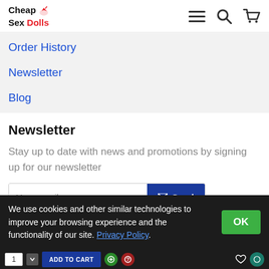CheapSexDolls
Order History
Newsletter
Blog
Newsletter
Stay up to date with news and promotions by signing up for our newsletter
We use cookies and other similar technologies to improve your browsing experience and the functionality of our site. Privacy Policy.